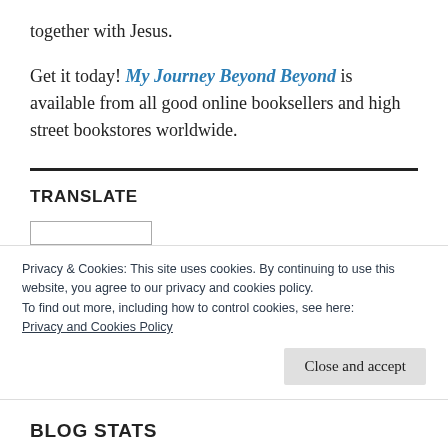together with Jesus.
Get it today! My Journey Beyond Beyond is available from all good online booksellers and high street bookstores worldwide.
TRANSLATE
Privacy & Cookies: This site uses cookies. By continuing to use this website, you agree to our privacy and cookies policy. To find out more, including how to control cookies, see here: Privacy and Cookies Policy
Close and accept
BLOG STATS